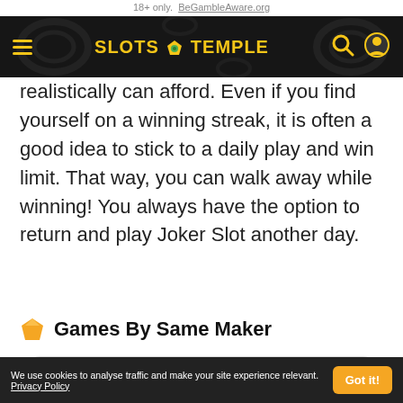18+ only. BeGambleAware.org
SLOTS TEMPLE
realistically can afford. Even if you find yourself on a winning streak, it is often a good idea to stick to a daily play and win limit. That way, you can walk away while winning! You always have the option to return and play Joker Slot another day.
Games By Same Maker
Search games...
We use cookies to analyse traffic and make your site experience relevant. Privacy Policy  Got it!